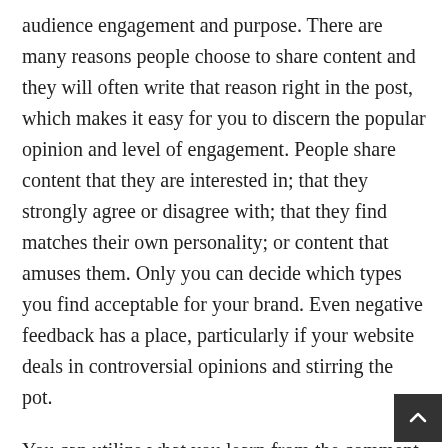audience engagement and purpose. There are many reasons people choose to share content and they will often write that reason right in the post, which makes it easy for you to discern the popular opinion and level of engagement. People share content that they are interested in; that they strongly agree or disagree with; that they find matches their own personality; or content that amuses them. Only you can decide which types you find acceptable for your brand. Even negative feedback has a place, particularly if your website deals in controversial opinions and stirring the pot.
You can utilize what you learn from the comment section and social media as inspiration for your